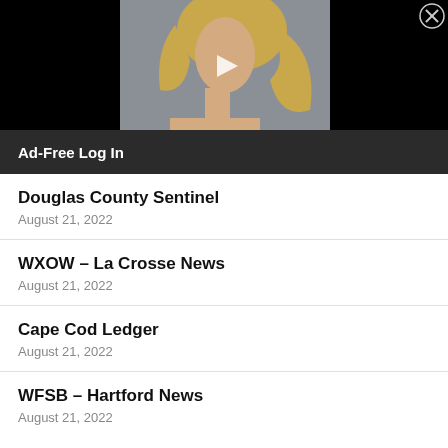[Figure (photo): Video player area with a photo of a blonde woman on a dark/black background, with a play button overlay and a close (X) button in the top right corner]
Ad-Free Log In
Douglas County Sentinel
August 21, 2022
WXOW – La Crosse News
August 21, 2022
Cape Cod Ledger
August 21, 2022
WFSB – Hartford News
August 21, 2022